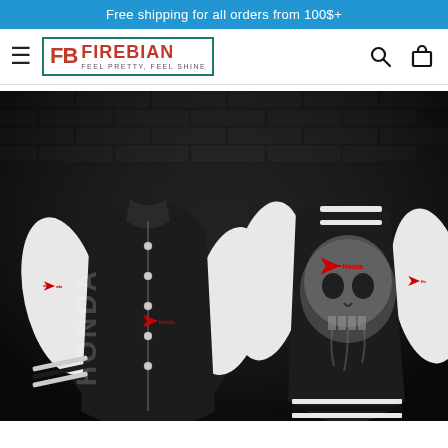Free shipping for all orders from 100$+
[Figure (logo): Firebian logo with FB letters in teal border box, red FIREBIAN text, tagline FEEL PRETTY, FEEL SHINE]
[Figure (photo): Product photo showing two Honda Punisher varsity jackets - front view on left showing black body with white sleeves and Honda wing logo, back view on right showing skull/punisher graphic with Honda branding, dark brick wall background]